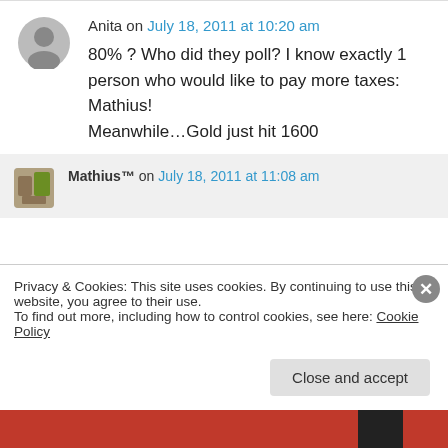Anita on July 18, 2011 at 10:20 am
80% ? Who did they poll? I know exactly 1 person who would like to pay more taxes: Mathius!
Meanwhile…Gold just hit 1600
Mathius™ on July 18, 2011 at 11:08 am
Privacy & Cookies: This site uses cookies. By continuing to use this website, you agree to their use.
To find out more, including how to control cookies, see here: Cookie Policy
Close and accept